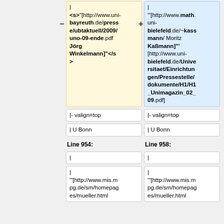<s>"[http://www.uni-bayreuth.de/presse/ubtaktuell/2009/uno-09-ende.pdf Jörg Winkelmann]"</s>
"[http://www.math.uni-bielefeld.de/~kassmann/ Moritz Kaßmann]"' '[http://www.uni-bielefeld.de/Universitaet/Einrichtungen/Pressestelle/dokumente/H1/H1_Unimagazin_02_09.pdf]
|- valign=top
|- valign=top
| U Bonn
| U Bonn
Line 954:
Line 958:
|
|
| '"[http://www.mis.mpg.de/sm/homepages/mueller.html
| '"[http://www.mis.mpg.de/sm/homepages/mueller.html